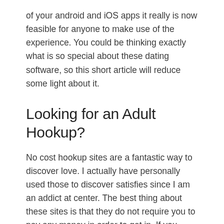of your android and iOS apps it really is now feasible for anyone to make use of the experience. You could be thinking exactly what is so special about these dating software, so this short article will reduce some light about it.
Looking for an Adult Hookup?
No cost hookup sites are a fantastic way to discover love. I actually have personally used those to discover satisfies since I am an addict at center. The best thing about these sites is that they do not require you to pay any money in order to get in. If you want to contact them or not, this means that you can browse through the thousands of profiles and just decide. When you have made a decision to make use of the service what you need to do is build your